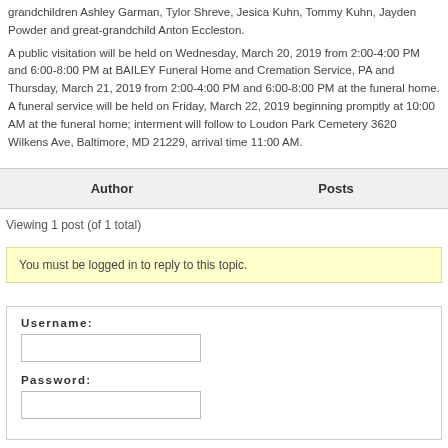grandchildren Ashley Garman, Tylor Shreve, Jesica Kuhn, Tommy Kuhn, Jayden Powder and great-grandchild Anton Eccleston.
A public visitation will be held on Wednesday, March 20, 2019 from 2:00-4:00 PM and 6:00-8:00 PM at BAILEY Funeral Home and Cremation Service, PA and Thursday, March 21, 2019 from 2:00-4:00 PM and 6:00-8:00 PM at the funeral home. A funeral service will be held on Friday, March 22, 2019 beginning promptly at 10:00 AM at the funeral home; interment will follow to Loudon Park Cemetery 3620 Wilkens Ave, Baltimore, MD 21229, arrival time 11:00 AM.
| Author | Posts |
| --- | --- |
Viewing 1 post (of 1 total)
You must be logged in to reply to this topic.
Username:
Password: